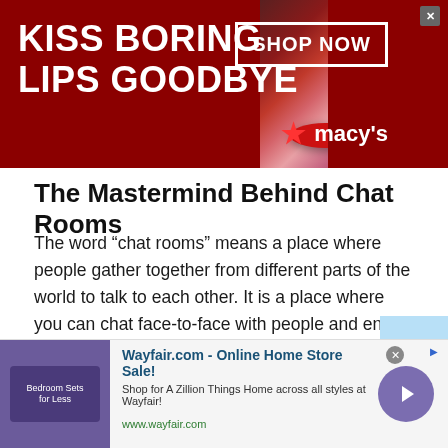[Figure (screenshot): Macy's advertisement banner with dark red background, woman's lips with red lipstick, text 'KISS BORING LIPS GOODBYE', 'SHOP NOW' button, and Macy's star logo]
The Mastermind Behind Chat Rooms
The word “chat rooms” means a place where people gather together from different parts of the world to talk to each other. It is a place where you can chat face-to-face with people and enjoy it. Chat rooms are the best place to get away from your loneliness and boredom. People are benefiting a lot from this invention. But have you ever thought about who invented chat rooms? No, you just open the chat room and Cuban Start Chatting. You have
[Figure (screenshot): Wayfair.com advertisement: 'Wayfair.com - Online Home Store Sale! Shop for A Zillion Things Home across all styles at Wayfair! www.wayfair.com' with purple bedroom sets image and navigation arrow button]